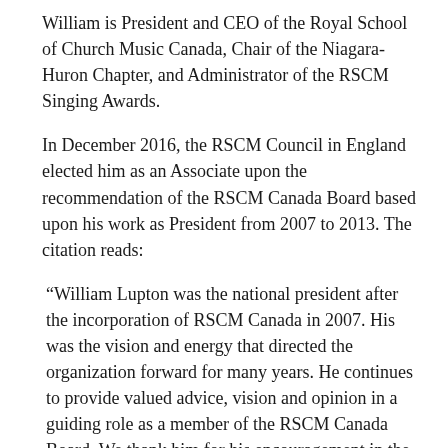William is President and CEO of the Royal School of Church Music Canada, Chair of the Niagara-Huron Chapter, and Administrator of the RSCM Singing Awards.
In December 2016, the RSCM Council in England elected him as an Associate upon the recommendation of the RSCM Canada Board based upon his work as President from 2007 to 2013. The citation reads:
“William Lupton was the national president after the incorporation of RSCM Canada in 2007. His was the vision and energy that directed the organization forward for many years. He continues to provide valued advice, vision and opinion in a guiding role as a member of the RSCM Canada Board. We thank him for his encouragement in the